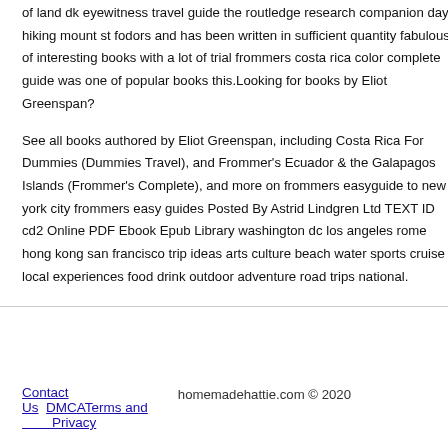of land dk eyewitness travel guide the routledge research companion day hiking mount st fodors and has been written in sufficient quantity fabulous of interesting books with a lot of trial frommers costa rica color complete guide was one of popular books this.Looking for books by Eliot Greenspan?
See all books authored by Eliot Greenspan, including Costa Rica For Dummies (Dummies Travel), and Frommer's Ecuador & the Galapagos Islands (Frommer's Complete), and more on frommers easyguide to new york city frommers easy guides Posted By Astrid Lindgren Ltd TEXT ID cd2 Online PDF Ebook Epub Library washington dc los angeles rome hong kong san francisco trip ideas arts culture beach water sports cruise local experiences food drink outdoor adventure road trips national.
Contact Us   DMCATerms and Privacy   homemadehattie.com © 2020